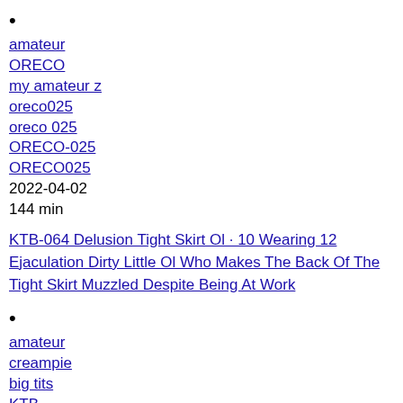•
amateur
ORECO
my amateur z
oreco025
oreco 025
ORECO-025
ORECO025
2022-04-02
144 min
KTB-064 Delusion Tight Skirt Ol · 10 Wearing 12 Ejaculation Dirty Little Ol Who Makes The Back Of The Tight Skirt Muzzled Despite Being At Work
•
amateur
creampie
big tits
KTB
kahanshin tigers mousouzoku
kahanshin tigers
KTB-064
KTB064
ktb00064